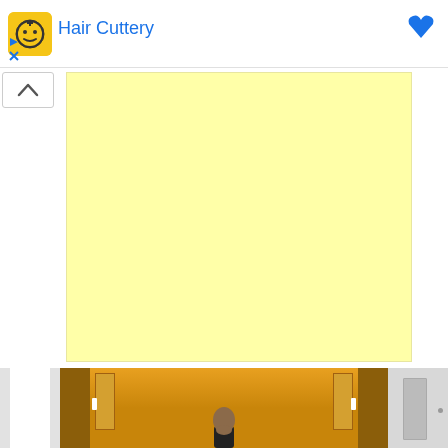[Figure (screenshot): Advertisement banner for Hair Cuttery with yellow icon logo, blue text title 'Hair Cuttery', blue heart/bookmark icon on right, and ad controls (play and close/X icons) below on left side.]
[Figure (other): Collapse/chevron-up button UI element on left side below ad bar.]
[Figure (other): Large light yellow advertisement rectangle placeholder.]
[Figure (photo): Photograph strip showing a bald person standing in a corridor with orange/amber ceiling and walls, flanked by partial views of other spaces on left and right.]